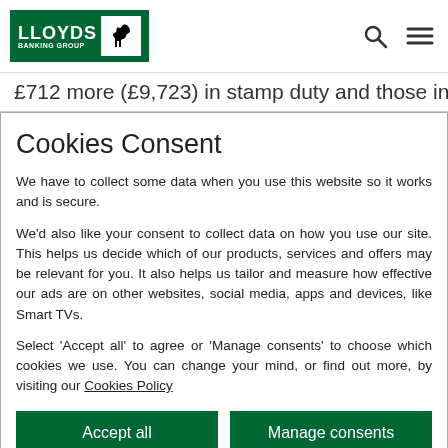LLOYDS BANKING GROUP
£712 more (£9,723) in stamp duty and those in
Cookies Consent
We have to collect some data when you use this website so it works and is secure.
We'd also like your consent to collect data on how you use our site. This helps us decide which of our products, services and offers may be relevant for you. It also helps us tailor and measure how effective our ads are on other websites, social media, apps and devices, like Smart TVs.
Select 'Accept all' to agree or 'Manage consents' to choose which cookies we use. You can change your mind, or find out more, by visiting our Cookies Policy